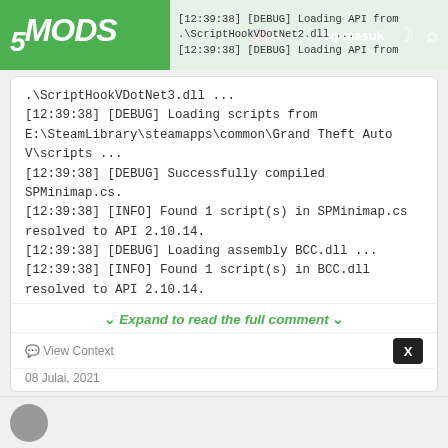5MODS — Log-masuk navigation bar
[12:39:38] [DEBUG] Loading API from .\ScriptHookVDotNet3.dll ...
[12:39:38] [DEBUG] Loading scripts from E:\SteamLibrary\steamapps\common\Grand Theft Auto V\scripts ...
[12:39:38] [DEBUG] Successfully compiled SPMinimap.cs.
[12:39:38] [INFO] Found 1 script(s) in SPMinimap.cs resolved to API 2.10.14.
[12:39:38] [DEBUG] Loading assembly BCC.dll ...
[12:39:38] [INFO] Found 1 script(s) in BCC.dll resolved to API 2.10.14.
[12:39:38] [DEBUG] Loading assembly closestdoor.dll ...
[12:39:38] [INFO] Found 1 script(s) in closestdoor.dll resolved to API 2.10.14.
↓ Expand to read the full comment ↓
View Context
08 Julai, 2021